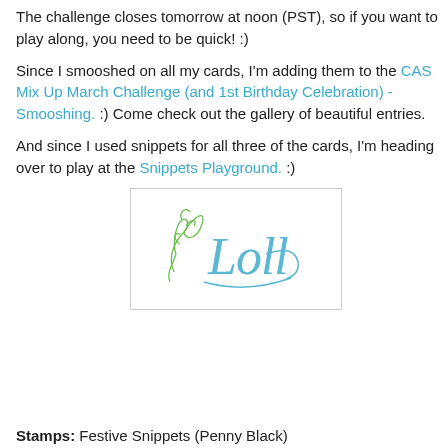The challenge closes tomorrow at noon (PST), so if you want to play along, you need to be quick! :)
Since I smooshed on all my cards, I'm adding them to the CAS Mix Up March Challenge (and 1st Birthday Celebration) - Smooshing. :)  Come check out the gallery of beautiful entries.
And since I used snippets for all three of the cards, I'm heading over to play at the Snippets Playground. :)
[Figure (logo): Signature logo with cursive blue text 'Loll' and a green decorative flourish, inside a light grey bordered rectangle.]
Stamps:  Festive Snippets (Penny Black)